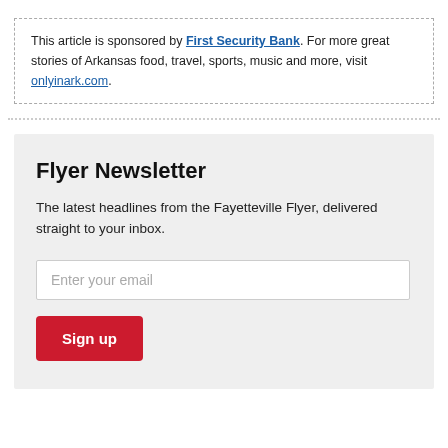This article is sponsored by First Security Bank. For more great stories of Arkansas food, travel, sports, music and more, visit onlyinark.com.
Flyer Newsletter
The latest headlines from the Fayetteville Flyer, delivered straight to your inbox.
Enter your email
Sign up